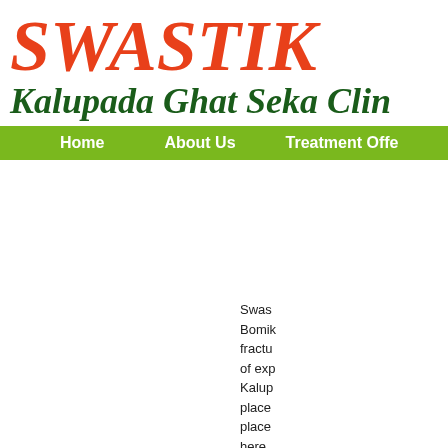SWASTIK
Kalupada Ghat Seka Clinic
Home   About Us   Treatment Offered
Swast... Bomikk... fractu... of exp... Kalup... place place here grand had s...